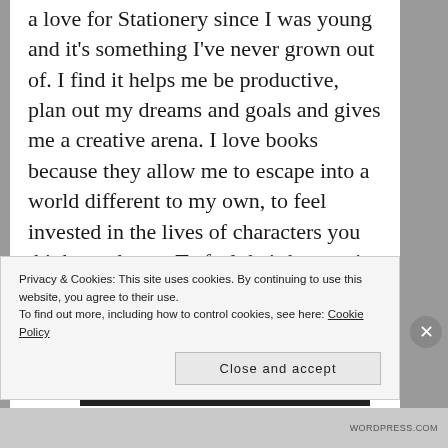a love for Stationery since I was young and it's something I've never grown out of. I find it helps me be productive, plan out my dreams and goals and gives me a creative arena. I love books because they allow me to escape into a world different to my own, to feel invested in the lives of characters you think you know. To feel their hurt, pain and laughter. I have 3 beautiful
Privacy & Cookies: This site uses cookies. By continuing to use this website, you agree to their use. To find out more, including how to control cookies, see here: Cookie Policy
Close and accept
WORDPRESS.COM